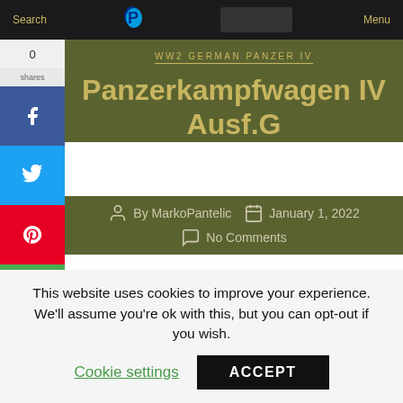Search  Menu
Panzerkampfwagen IV Ausf.G
By MarkoPantelic  January 1, 2022  No Comments
[Figure (photo): 3D render of Panzerkampfwagen IV Ausf.G tank in desert camouflage with German cross marking]
This website uses cookies to improve your experience. We'll assume you're ok with this, but you can opt-out if you wish. Cookie settings  ACCEPT